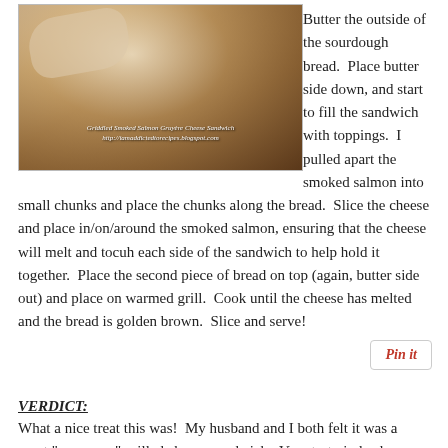[Figure (photo): Close-up photo of a Griddled Smoked Salmon Gruyère Cheese Sandwich, showing toasted golden bread with filling visible. Caption overlay reads 'Griddled Smoked Salmon Gruyère Cheese Sandwich' and 'http://iamaddictedtorecipes.blogspot.com']
Butter the outside of the sourdough bread.  Place butter side down, and start to fill the sandwich with toppings.  I pulled apart the smoked salmon into small chunks and place the chunks along the bread.  Slice the cheese and place in/on/around the smoked salmon, ensuring that the cheese will melt and tocuh each side of the sandwich to help hold it together.  Place the second piece of bread on top (again, butter side out) and place on warmed grill.  Cook until the cheese has melted and the bread is golden brown.  Slice and serve!
[Figure (other): Pin it button]
VERDICT:
What a nice treat this was!  My husband and I both felt it was a great "grown up" grilled cheese sandwich.  Very tasty indeed - an indulgence for sure!